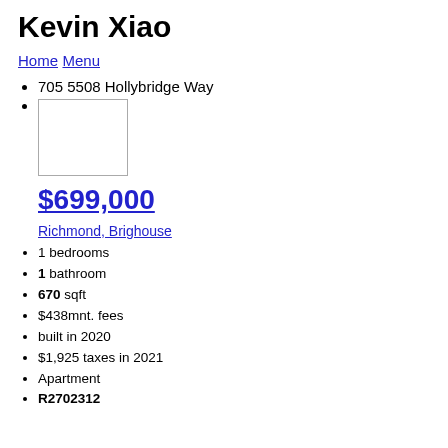Kevin Xiao
Home  Menu
705 5508 Hollybridge Way
[Figure (photo): Property listing photo placeholder image]
$699,000
Richmond, Brighouse
1 bedrooms
1 bathroom
670 sqft
$438mnt. fees
built in 2020
$1,925 taxes in 2021
Apartment
R2702312